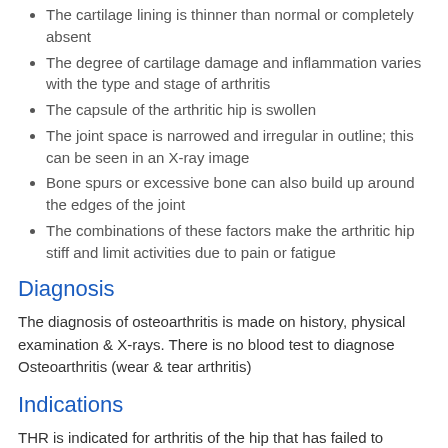The cartilage lining is thinner than normal or completely absent
The degree of cartilage damage and inflammation varies with the type and stage of arthritis
The capsule of the arthritic hip is swollen
The joint space is narrowed and irregular in outline; this can be seen in an X-ray image
Bone spurs or excessive bone can also build up around the edges of the joint
The combinations of these factors make the arthritic hip stiff and limit activities due to pain or fatigue
Diagnosis
The diagnosis of osteoarthritis is made on history, physical examination & X-rays. There is no blood test to diagnose Osteoarthritis (wear & tear arthritis)
Indications
THR is indicated for arthritis of the hip that has failed to respond to conservative (non-operative) treatment.